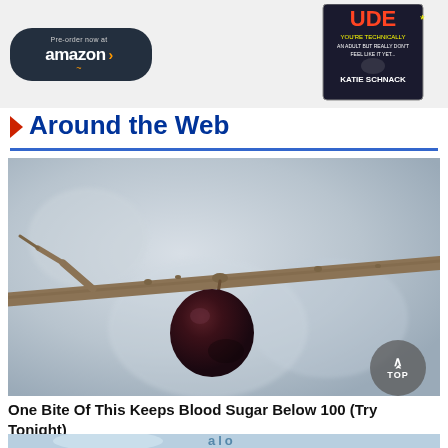[Figure (illustration): Amazon pre-order button and book cover advertisement banner at top of page. Book by Katie Schnack.]
Around the Web
[Figure (photo): Close-up photograph of a single dark reddish-brown berry or small fruit hanging from a bare tree branch, against a blurred grey-blue background.]
One Bite Of This Keeps Blood Sugar Below 100 (Try Tonight)
[Figure (photo): Partial bottom image showing blue and white colors, partially cropped.]